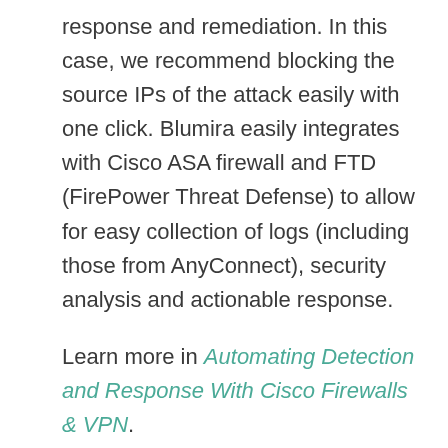response and remediation. In this case, we recommend blocking the source IPs of the attack easily with one click. Blumira easily integrates with Cisco ASA firewall and FTD (FirePower Threat Defense) to allow for easy collection of logs (including those from AnyConnect), security analysis and actionable response.
Learn more in Automating Detection and Response With Cisco Firewalls & VPN.